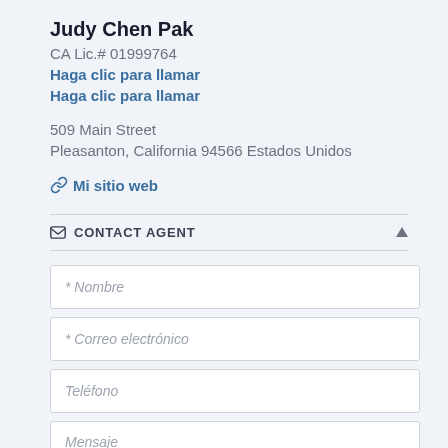Judy Chen Pak
CA Lic.# 01999764
Haga clic para llamar
Haga clic para llamar
509 Main Street
Pleasanton, California 94566 Estados Unidos
🔗 Mi sitio web
✉ CONTACT AGENT
* Nombre
* Correo electrónico
Teléfono
Mensaje